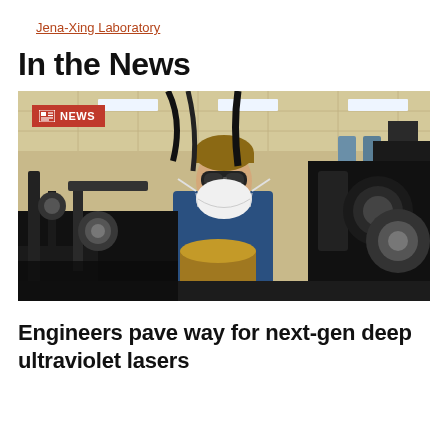Jena-Xing Laboratory
In the News
[Figure (photo): A researcher wearing safety goggles and a white N95 mask works with complex laser optical equipment in a laboratory setting. The equipment includes numerous black metal optical mounts, mirrors, tubes, and mechanical components on an optical table. A red NEWS badge with a newspaper icon is visible in the upper left corner of the image.]
Engineers pave way for next-gen deep ultraviolet lasers